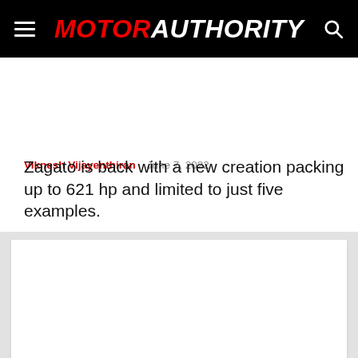MOTOR AUTHORITY
Viknesh Vijayenthiran   June 7, 2022
Zagato is back with a new creation packing up to 621 hp and limited to just five examples.
[Figure (other): White content card placeholder area]